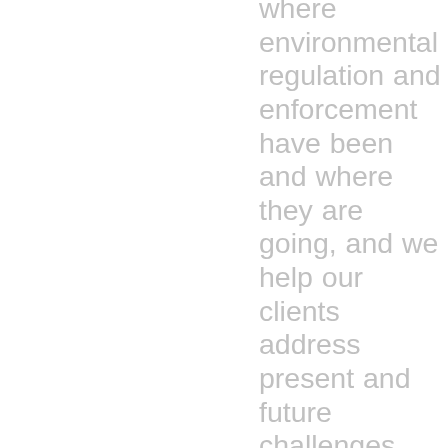where environmental regulation and enforcement have been and where they are going, and we help our clients address present and future challenges. The lawyers in our California office represent enterprises throughout California, around the U.S., and worldwide. Clients benefit from the